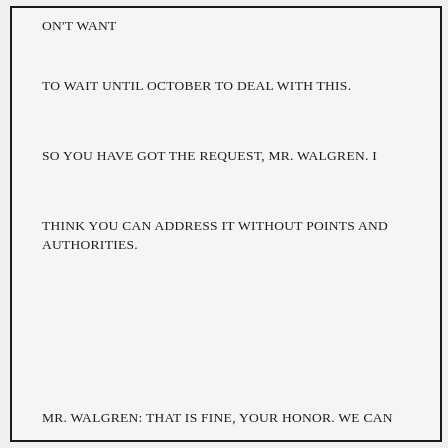ON'T WANT
TO WAIT UNTIL OCTOBER TO DEAL WITH THIS.
SO YOU HAVE GOT THE REQUEST, MR. WALGREN. I
THINK YOU CAN ADDRESS IT WITHOUT POINTS AND AUTHORITIES.
MR. WALGREN: THAT IS FINE, YOUR HONOR. WE CAN